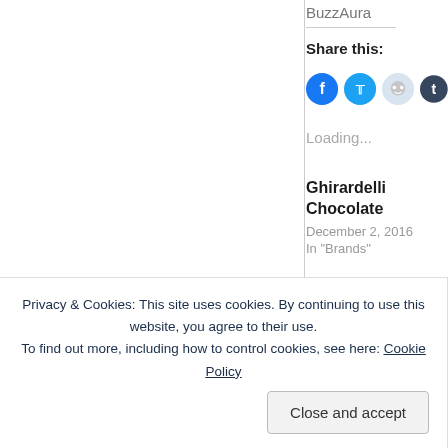BuzzAura
Share this:
[Figure (illustration): Social share icons: Facebook (blue circle), Twitter (light blue circle), Reddit (light gray circle), Tumblr (dark blue circle, partially cropped)]
Loading...
Ghirardelli Chocolate
December 2, 2016
In "Brands"
Fancypants Baking C
September 16, 20
Privacy & Cookies: This site uses cookies. By continuing to use this website, you agree to their use.
To find out more, including how to control cookies, see here: Cookie Policy
Close and accept